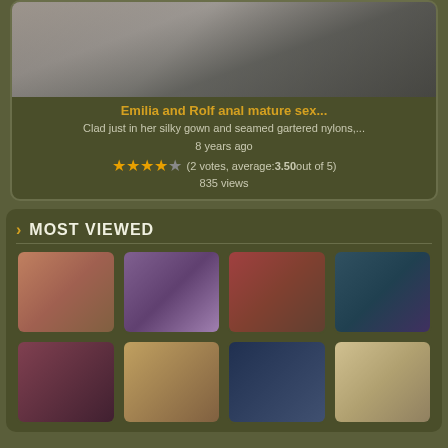[Figure (photo): Cropped adult content thumbnail image at top of card]
Emilia and Rolf anal mature sex...
Clad just in her silky gown and seamed gartered nylons,...
8 years ago
(2 votes, average: 3.50 out of 5)
835 views
MOST VIEWED
[Figure (photo): Thumbnail 1 - close up adult content]
[Figure (photo): Thumbnail 2 - group scene]
[Figure (photo): Thumbnail 3 - two people]
[Figure (photo): Thumbnail 4 - doggy style adult content]
[Figure (photo): Thumbnail 5 - couple]
[Figure (photo): Thumbnail 6 - blonde woman]
[Figure (photo): Thumbnail 7 - woman in blue dress]
[Figure (photo): Thumbnail 8 - blonde woman with man]